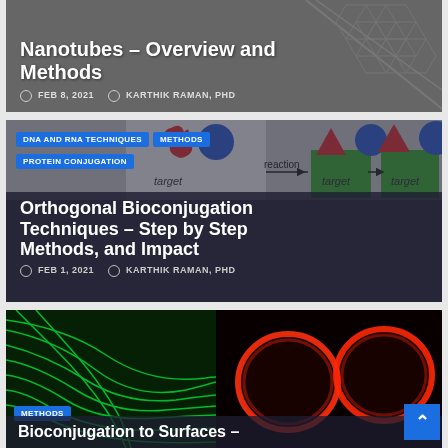Bioconjugation of Carbon Nanotubes – Overview and Methods
FEB 8, 2021  KARTHIK RAMAN, PHD
DNA AND RNA TECHNIQUES
METHODS
PROTEIN CONJUGATION
[Figure (illustration): Diagram showing reaction arrow with target labels, red triangle and blue circle shapes on green background]
Orthogonal Bioconjugation Techniques – Step by Step Methods, and Impact
FEB 1, 2021  KARTHIK RAMAN, PHD
[Figure (illustration): Green fluorescence microscopy image of fibrous structures]
[Figure (photo): Red fluorescence microscopy image showing circular cell structures]
METHODS
Bioconjugation to Surfaces –